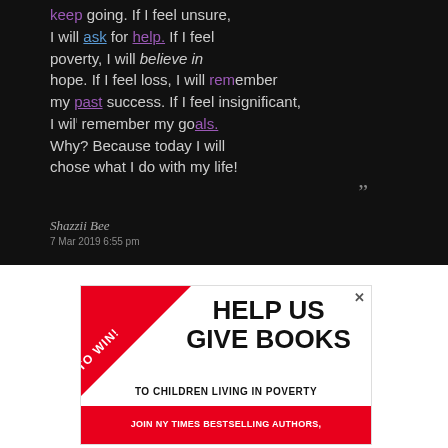[Figure (screenshot): Screenshot of a social media post on a black background showing a motivational quote in white and purple text: 'keep going. If I feel unsure, I will ask for help. If I feel poverty, I will believe in hope. If I feel loss, I will remember my past success. If I feel insignificant, I will remember my goals. Why? Because today I will chose what I do with my life!' attributed to Shazzii Bee, 7 Mar 2019 6:55 pm]
[Figure (infographic): Advertisement banner with red ribbon in top-left corner reading 'BID TO WIN!' and main text 'HELP US GIVE BOOKS TO CHILDREN LIVING IN POVERTY' with red bottom bar reading 'JOIN NY TIMES BESTSELLING AUTHORS,']